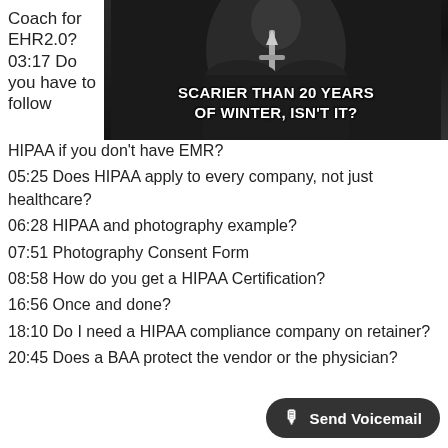[Figure (photo): A dark fantasy action figure holding a sword, with white bold text overlay reading 'SCARIER THAN 20 YEARS OF WINTER, ISN'T IT?']
Coach for EHR2.0? 03:17 Do you have to follow HIPAA if you don't have EMR?
05:25 Does HIPAA apply to every company, not just healthcare?
06:28 HIPAA and photography example?
07:51 Photography Consent Form
08:58 How do you get a HIPAA Certification?
16:56 Once and done?
18:10 Do I need a HIPAA compliance company on retainer?
20:45 Does a BAA protect the vendor or the physician?